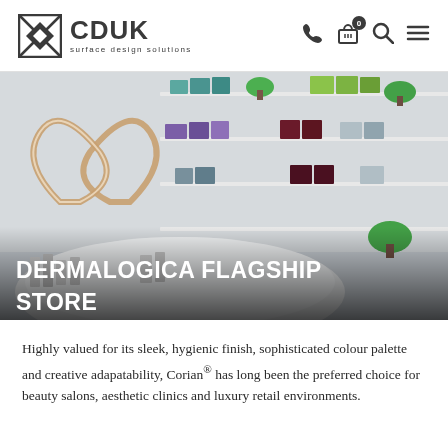[Figure (logo): CDUK surface design solutions logo with geometric diamond/cross pattern icon]
[Figure (photo): Interior of Dermalogica flagship store showing white display counters with skincare products, illuminated butterfly-shaped mirror display, wall shelving with colourful product boxes in purple, teal, green and red.]
DERMALOGICA FLAGSHIP STORE
Highly valued for its sleek, hygienic finish, sophisticated colour palette and creative adapatability, Corian® has long been the preferred choice for beauty salons, aesthetic clinics and luxury retail environments.